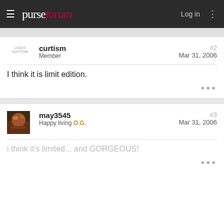purseforum | Log in
curtism | Member | #2 | Mar 31, 2006
I think it is limit edition.
may3545 | Happy living O.G. | #3 | Mar 31, 2006
i think it's limited... and GORGEOUS!